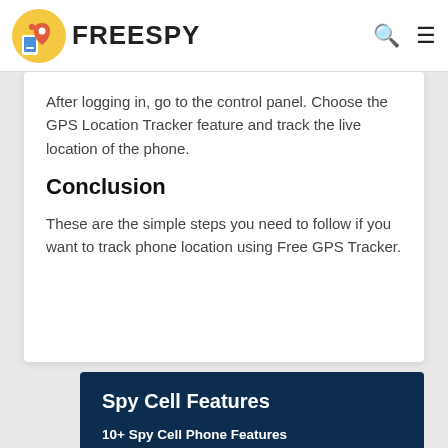FREESPY
After logging in, go to the control panel. Choose the GPS Location Tracker feature and track the live location of the phone.
Conclusion
These are the simple steps you need to follow if you want to track phone location using Free GPS Tracker.
Spy Cell Features
10+ Spy Cell Phone Features
Free GPS Tracker